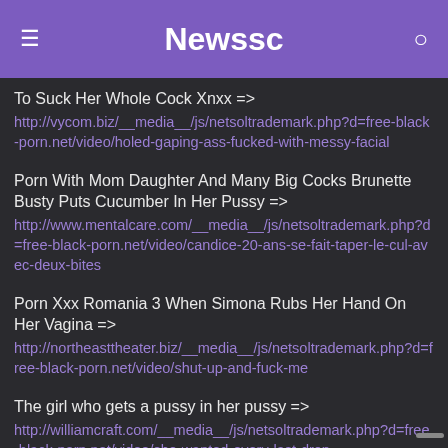Newssc
To Suck Her Whole Cock Xnxx => http://vycom.biz/__media__/js/netsoltrademark.php?d=free-black-porn.net/video/holed-gaping-ass-fucked-with-messy-facial
Porn With Mom Daughter And Many Big Cocks Brunette Busty Puts Cucumber In Her Pussy => http://www.mentalcare.com/__media__/js/netsoltrademark.php?d=free-black-porn.net/video/candice-20-ans-se-fait-taper-le-cul-avec-deux-bites
Porn Xxx Romania 3 When Simona Rubs Her Hand On Her Vagina => http://northeasttheater.biz/__media__/js/netsoltrademark.php?d=free-black-porn.net/video/shut-up-and-fuck-me
The girl who gets a pussy in her pussy => http://williamcraft.com/__media__/js/netsoltrademark.php?d=free-black-porn.net/video/she-wanted-every-last-drop